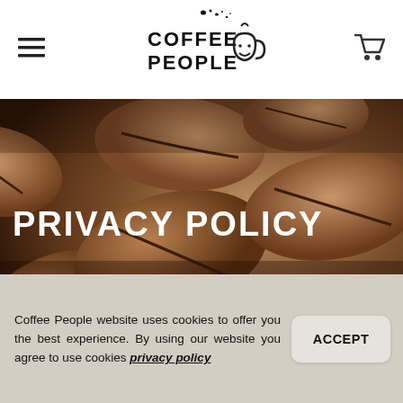Coffee People (logo with hamburger menu and cart icon)
[Figure (photo): Close-up photo of roasted coffee beans filling the frame with warm brown tones, used as hero background image]
PRIVACY POLICY
Coffee People website uses cookies to offer you the best experience. By using our website you agree to use cookies privacy policy